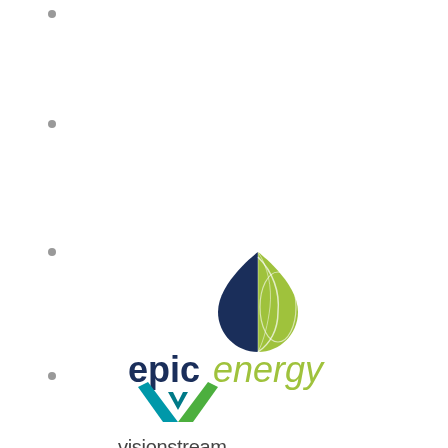[Figure (logo): Epic Energy logo with dark navy and lime green teardrop/globe icon above text 'epic energy' where 'epic' is bold dark navy and 'energy' is italic lime green]
[Figure (logo): Visionstream logo with a teal and green chevron/arrow V shape above lowercase sans-serif text 'visionstream']